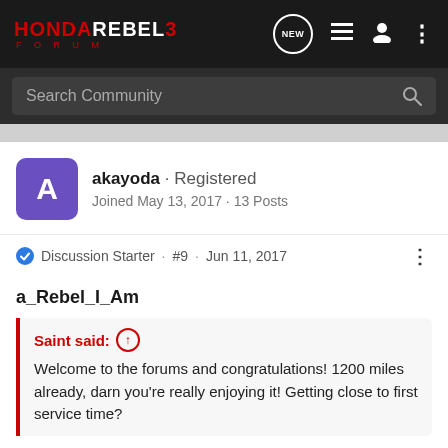HONDA REBEL 3 FORUM
Search Community
akayoda · Registered
Joined May 13, 2017 · 13 Posts
Discussion Starter · #9 · Jun 11, 2017
a_Rebel_I_Am
Saint said: ↑
Welcome to the forums and congratulations! 1200 miles already, darn you're really enjoying it! Getting close to first service time?
Yes enjoying very much!! I did take it in for the first service at 600 miles. The dealer was surprised to see me so soon. LOL